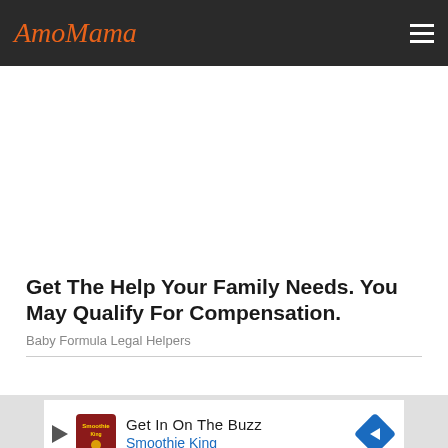AmoMama
[Figure (other): White advertisement placeholder area]
Get The Help Your Family Needs. You May Qualify For Compensation.
Baby Formula Legal Helpers
[Figure (other): Advertisement banner: Get In On The Buzz - Smoothie King, with play icon, Smoothie King logo, and blue arrow icon]